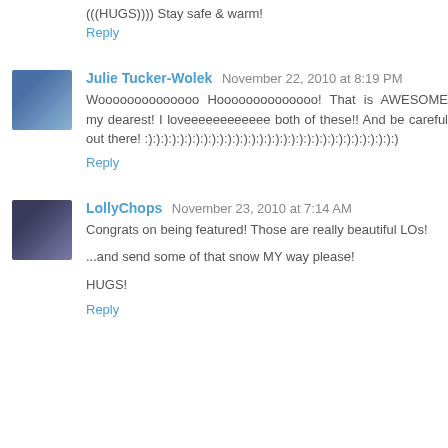(((HUGS)))) Stay safe & warm!
Reply
Julie Tucker-Wolek November 22, 2010 at 8:19 PM
Woooooooooooooo Hoooooooooooooo! That is AWESOME my dearest! I loveeeeeeeeeeee both of these!! And be careful out there! :):):):):):):):):):):):):):):):):):):):):):):):):):):):):):):):)
Reply
LollyChops November 23, 2010 at 7:14 AM
Congrats on being featured! Those are really beautiful LOs!

...and send some of that snow MY way please!

HUGS!
Reply